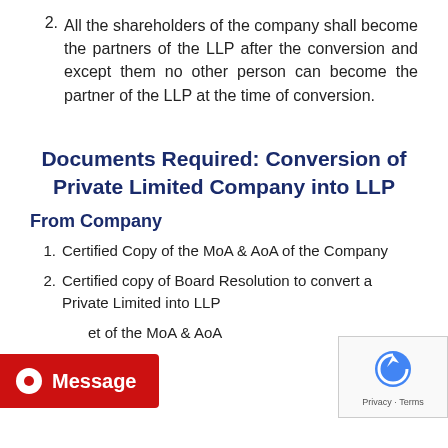2. All the shareholders of the company shall become the partners of the LLP after the conversion and except them no other person can become the partner of the LLP at the time of conversion.
Documents Required: Conversion of Private Limited Company into LLP
From Company
1. Certified Copy of the MoA & AoA of the Company
2. Certified copy of Board Resolution to convert a Private Limited into LLP
3. [et of the MoA & AoA (partially visible)
4. (partially visible)